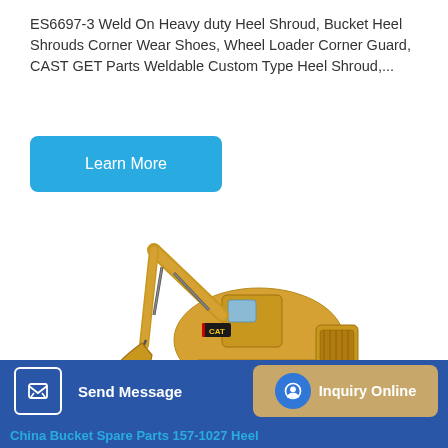ES6697-3 Weld On Heavy duty Heel Shroud, Bucket Heel Shrouds Corner Wear Shoes, Wheel Loader Corner Guard, CAST GET Parts Weldable Custom Type Heel Shroud,...
[Figure (illustration): Blue rounded rectangle button labeled 'Learn More' with white text on cyan/sky-blue background]
[Figure (photo): Yellow CAT hydraulic excavator on white background, side view showing boom, arm, bucket, tracks, and cab with CAT logo]
China Bucket Spare Parts 157-1027 Heel